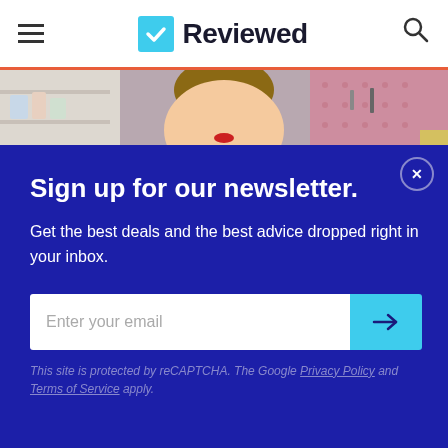Reviewed
[Figure (photo): A smiling woman in a polka-dot top in front of a pink pegboard with craft supplies and shelving]
Sign up for our newsletter.
Get the best deals and the best advice dropped right in your inbox.
Enter your email
This site is protected by reCAPTCHA. The Google Privacy Policy and Terms of Service apply.